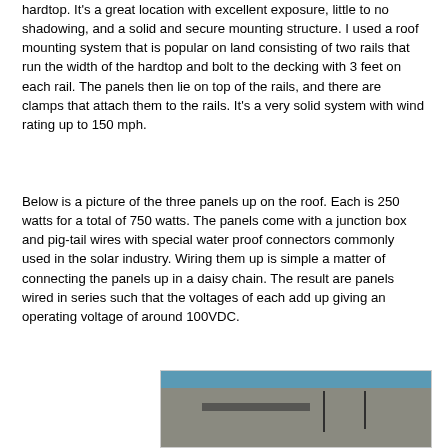hardtop.  It's a great location with excellent exposure, little to no shadowing, and a solid and secure mounting structure.  I used a roof mounting system that is popular on land consisting of two rails that run the width of the hardtop and bolt to the decking with 3 feet on each rail.  The panels then lie on top of the rails, and there are clamps that attach them to the rails.  It's a very solid system with wind rating up to 150 mph.
Below is a picture of the three panels up on the roof.  Each is 250 watts for a total of 750 watts.  The panels come with a junction box and pig-tail wires with special water proof connectors commonly used in the solar industry.  Wiring them up is simple a matter of connecting the panels up in a daisy chain.  The result are panels wired in series such that the voltages of each add up giving an operating voltage of around 100VDC.
[Figure (photo): Aerial or overhead view of boats in a marina, showing solar panels mounted on a hardtop of one of the boats. Multiple boats with masts are visible. Water is visible in the background.]